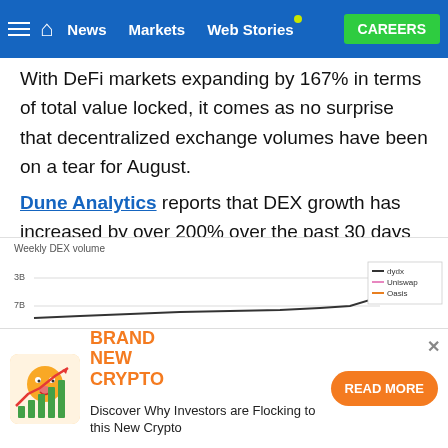≡ 🏠 News  Markets  Web Stories  CAREERS
With DeFi markets expanding by 167% in terms of total value locked, it comes as no surprise that decentralized exchange volumes have been on a tear for August.
Dune Analytics reports that DEX growth has increased by over 200% over the past 30 days as volume reached $17.8 billion for the period. Uniswap is currently the industry leader in terms of volume with just over 70% share of the total.
[Figure (line-chart): Partially visible line chart showing weekly DEX volume with legend entries for dydx, Uniswap, and Oasis. Y-axis labels show 3B and 7B. A sharp upward spike is visible on the right side.]
[Figure (infographic): Advertisement banner: Brand New Crypto — Discover Why Investors are Flocking to this New Crypto — READ MORE button]